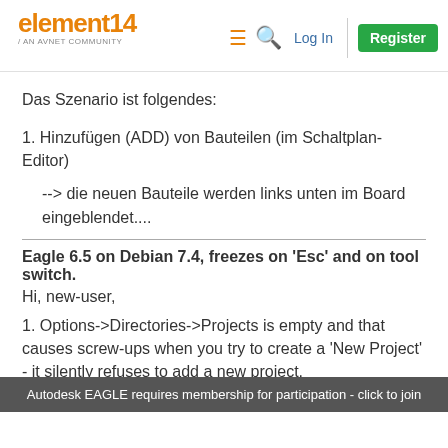element14 / AN AVNET COMMUNITY | Log In | Register
Das Szenario ist folgendes:
1. Hinzufügen (ADD) von Bauteilen (im Schaltplan-Editor)
--> die neuen Bauteile werden links unten im Board eingeblendet....
Eagle 6.5 on Debian 7.4, freezes on 'Esc' and on tool switch.
Hi, new-user,
1. Options->Directories->Projects is empty and that causes screw-ups when you try to create a 'New Project' - it silently refuses to add a new project.
Autodesk EAGLE requires membership for participation - click to join
2. After I 'Add' a part from the library, when I hit 'Esc'...